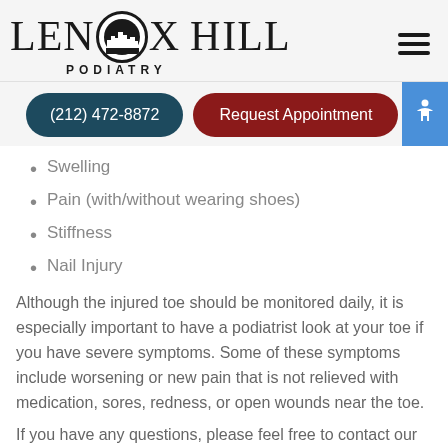[Figure (logo): Lenox Hill Podiatry logo with stylized city skyline inside the letter O]
Swelling
Pain (with/without wearing shoes)
Stiffness
Nail Injury
Although the injured toe should be monitored daily, it is especially important to have a podiatrist look at your toe if you have severe symptoms. Some of these symptoms include worsening or new pain that is not relieved with medication, sores, redness, or open wounds near the toe.
If you have any questions, please feel free to contact our office located in New York, NY . We offer the newest diagnostic and treatment